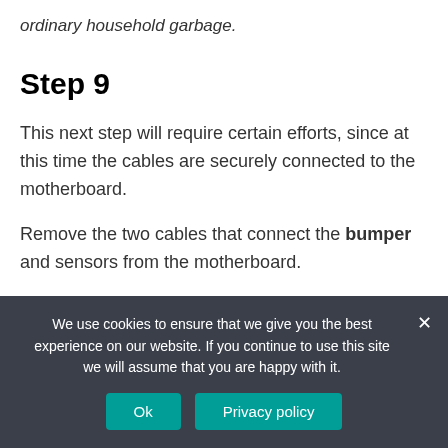ordinary household garbage.
Step 9
This next step will require certain efforts, since at this time the cables are securely connected to the motherboard.
Remove the two cables that connect the bumper and sensors from the motherboard.
As can be seen in the photo, the cable and the place of its location on the motherboard are indicated by the
We use cookies to ensure that we give you the best experience on our website. If you continue to use this site we will assume that you are happy with it.